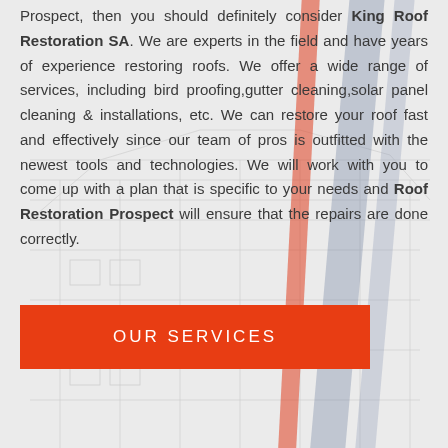[Figure (illustration): Architectural line drawing of a building/roof structure in light gray as background, with diagonal red and blue-gray stripe overlays in the right portion of the image.]
Prospect, then you should definitely consider King Roof Restoration SA. We are experts in the field and have years of experience restoring roofs. We offer a wide range of services, including bird proofing,gutter cleaning,solar panel cleaning & installations, etc. We can restore your roof fast and effectively since our team of pros is outfitted with the newest tools and technologies. We will work with you to come up with a plan that is specific to your needs and Roof Restoration Prospect will ensure that the repairs are done correctly.
OUR SERVICES